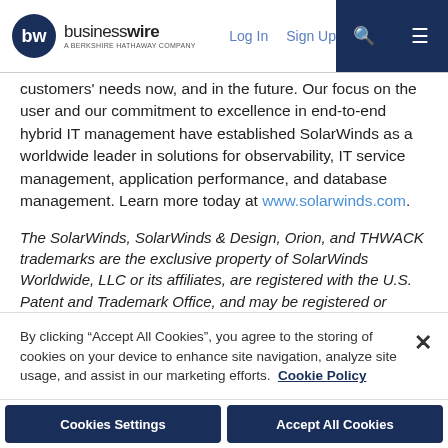businesswire — A BERKSHIRE HATHAWAY COMPANY | Log In | Sign Up
customers' needs now, and in the future. Our focus on the user and our commitment to excellence in end-to-end hybrid IT management have established SolarWinds as a worldwide leader in solutions for observability, IT service management, application performance, and database management. Learn more today at www.solarwinds.com.
The SolarWinds, SolarWinds & Design, Orion, and THWACK trademarks are the exclusive property of SolarWinds Worldwide, LLC or its affiliates, are registered with the U.S. Patent and Trademark Office, and may be registered or pending registration in other countries. All other SolarWinds trademarks, service marks, and logos may be common law marks or are registered or pending registration. All other trademarks mentioned herein are used for
By clicking "Accept All Cookies", you agree to the storing of cookies on your device to enhance site navigation, analyze site usage, and assist in our marketing efforts.  Cookie Policy
Cookies Settings | Accept All Cookies